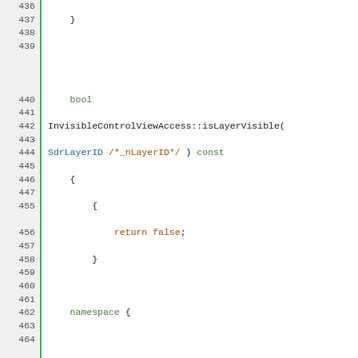[Figure (screenshot): Source code listing in C++ with syntax highlighting. Line numbers 436-471 visible. Shows InvisibleControlViewAccess::isLayerVisible, DummyPageViewAccess class definition with methods.]